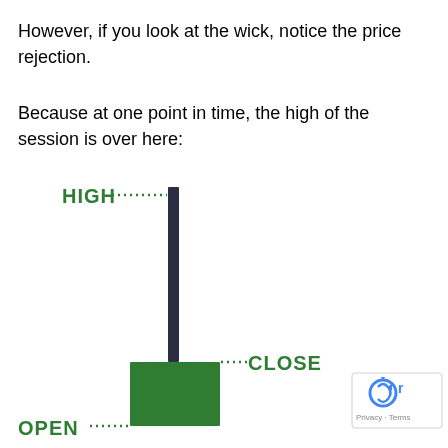However, if you look at the wick, notice the price rejection.
Because at one point in time, the high of the session is over here:
[Figure (other): Candlestick diagram showing a tall dark wick from top, with a green body at the bottom. Labels: HIGH (dotted line at top of wick), CLOSE (dotted line at top of green body), OPEN (dotted line at bottom of green body).]